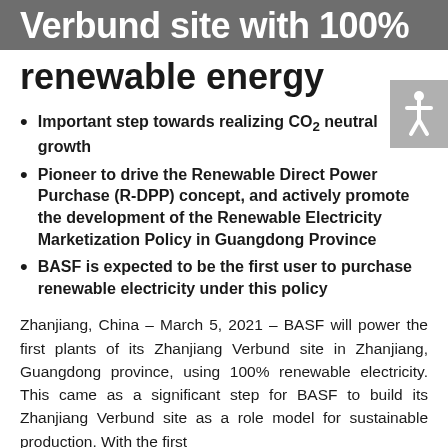Verbund site with 100% renewable energy
Important step towards realizing CO₂ neutral growth
Pioneer to drive the Renewable Direct Power Purchase (R-DPP) concept, and actively promote the development of the Renewable Electricity Marketization Policy in Guangdong Province
BASF is expected to be the first user to purchase renewable electricity under this policy
Zhanjiang, China – March 5, 2021 – BASF will power the first plants of its Zhanjiang Verbund site in Zhanjiang, Guangdong province, using 100% renewable electricity. This came as a significant step for BASF to build its Zhanjiang Verbund site as a role model for sustainable production. With the first